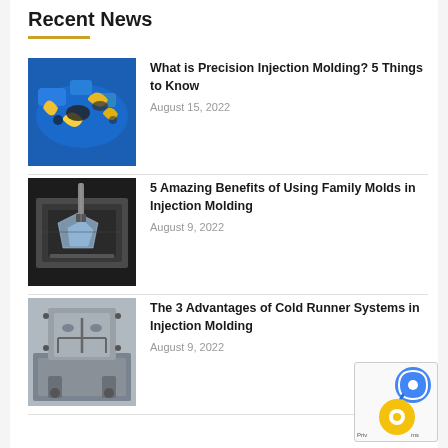Recent News
[Figure (photo): Blue and yellow plastic injection molded parts on a tray]
What is Precision Injection Molding? 5 Things to Know
August 15, 2022
[Figure (photo): Metal injection mold with clear plastic parts being machined]
5 Amazing Benefits of Using Family Molds in Injection Molding
August 9, 2022
[Figure (photo): Metal cold runner system mold component]
The 3 Advantages of Cold Runner Systems in Injection Molding
August 9, 2022